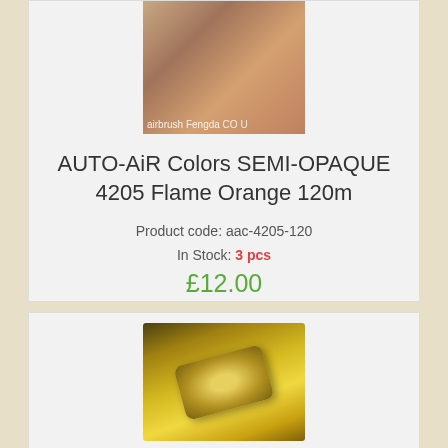[Figure (photo): Orange flame paint color swatch applied to a car body surface, partially visible, with watermark text 'airbrush Fengda CO U']
AUTO-AiR Colors SEMI-OPAQUE 4205 Flame Orange 120m
Product code: aac-4205-120
In Stock: 3 pcs
£12.00
[Figure (photo): Yellow/gold paint color swatch applied to a surface, showing metallic yellow-gold color finish]